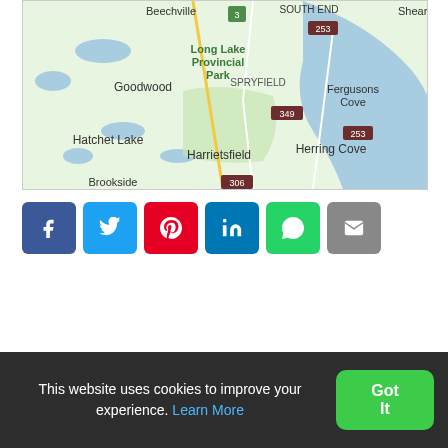[Figure (map): Google Maps screenshot showing area around Long Lake Provincial Park, Nova Scotia, including Beechville, South End, Shearwater, Goodwood, Spryfield, Fergusons Cove, Hatchet Lake, Harrietsfield, Herring Cove, Brookside, with route numbers 3, 253, 349, 306 visible.]
[Figure (infographic): Social media share buttons: Facebook (blue), Twitter (light blue), Pinterest (red), LinkedIn (dark blue), WhatsApp (green), Email (grey)]
This website uses cookies to improve your experience. Learn More
Got It